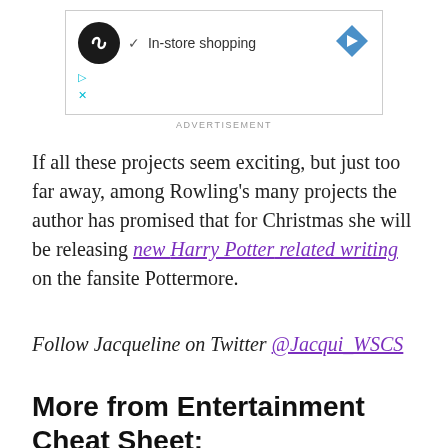[Figure (screenshot): Advertisement box showing a store/shopping service with a circular black logo with infinity/loop icon, a checkmark and 'In-store shopping' text, a blue diamond navigation icon, and cyan play/close control buttons.]
ADVERTISEMENT
If all these projects seem exciting, but just too far away, among Rowling's many projects the author has promised that for Christmas she will be releasing new Harry Potter related writing on the fansite Pottermore.
Follow Jacqueline on Twitter @Jacqui_WSCS
More from Entertainment Cheat Sheet: